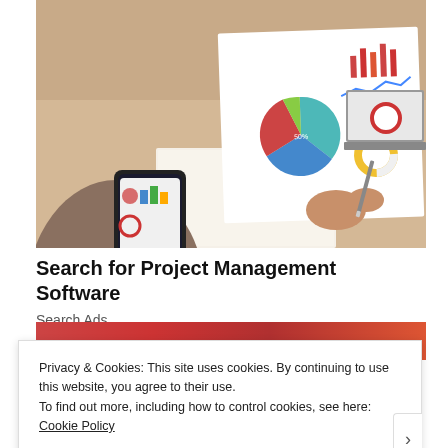[Figure (photo): Person holding a smartphone in one hand and a printed dashboard/analytics report with pie charts, bar charts, and graphs in the other hand, sitting at a wooden desk with an open notebook and a laptop visible in the background]
Search for Project Management Software
Search Ads
Privacy & Cookies: This site uses cookies. By continuing to use this website, you agree to their use.
To find out more, including how to control cookies, see here: Cookie Policy
Close and accept